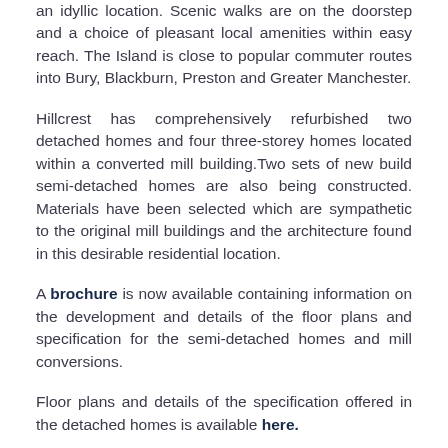an idyllic location. Scenic walks are on the doorstep and a choice of pleasant local amenities within easy reach. The Island is close to popular commuter routes into Bury, Blackburn, Preston and Greater Manchester.
Hillcrest has comprehensively refurbished two detached homes and four three-storey homes located within a converted mill building. Two sets of new build semi-detached homes are also being constructed. Materials have been selected which are sympathetic to the original mill buildings and the architecture found in this desirable residential location.
A brochure is now available containing information on the development and details of the floor plans and specification for the semi-detached homes and mill conversions.
Floor plans and details of the specification offered in the detached homes is available here.
*TWO SHOW HOMES NOW AVAILABLE TO VIEW